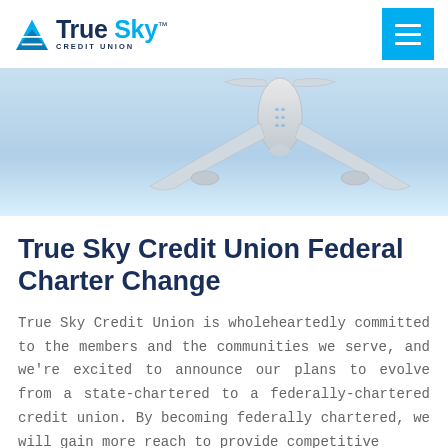[Figure (logo): True Sky Credit Union logo with blue diamond/arrow icon and text 'True Sky Credit Union']
[Figure (photo): Aerial view of a commercial airplane photographed from below against a light blue sky, used as hero banner image]
True Sky Credit Union Federal Charter Change
True Sky Credit Union is wholeheartedly committed to the members and the communities we serve, and we're excited to announce our plans to evolve from a state-chartered to a federally-chartered credit union. By becoming federally chartered, we will gain more reach to provide competitive